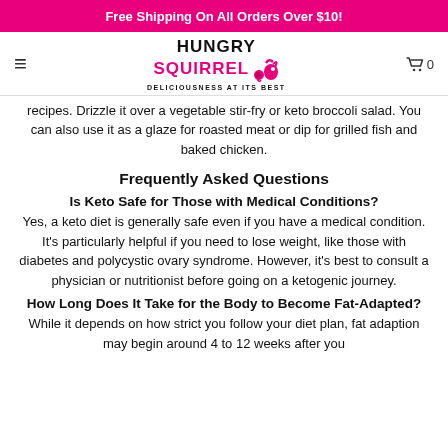Free Shipping On All Orders Over $10!
[Figure (logo): Hungry Squirrel logo with pink squirrel icon and tagline 'Deliciousness At Its Best']
recipes. Drizzle it over a vegetable stir-fry or keto broccoli salad. You can also use it as a glaze for roasted meat or dip for grilled fish and baked chicken.
Frequently Asked Questions
Is Keto Safe for Those with Medical Conditions?
Yes, a keto diet is generally safe even if you have a medical condition. It's particularly helpful if you need to lose weight, like those with diabetes and polycystic ovary syndrome. However, it's best to consult a physician or nutritionist before going on a ketogenic journey.
How Long Does It Take for the Body to Become Fat-Adapted?
While it depends on how strict you follow your diet plan, fat adaption may begin around 4 to 12 weeks after you